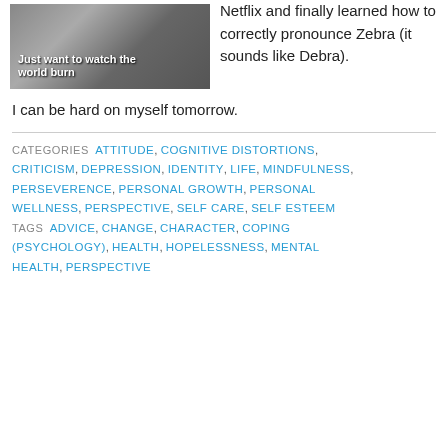[Figure (photo): A meme image showing hands holding what appears to be a crumpled cigarette pack, with white bold text overlay reading 'Just want to watch the world burn']
Netflix and finally learned how to correctly pronounce Zebra (it sounds like Debra).
I can be hard on myself tomorrow.
CATEGORIES  ATTITUDE, COGNITIVE DISTORTIONS, CRITICISM, DEPRESSION, IDENTITY, LIFE, MINDFULNESS, PERSEVERENCE, PERSONAL GROWTH, PERSONAL WELLNESS, PERSPECTIVE, SELF CARE, SELF ESTEEM  TAGS  ADVICE, CHANGE, CHARACTER, COPING (PSYCHOLOGY), HEALTH, HOPELESSNESS, MENTAL HEALTH, PERSPECTIVE